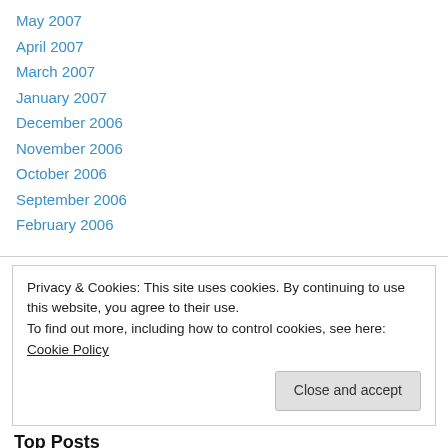May 2007
April 2007
March 2007
January 2007
December 2006
November 2006
October 2006
September 2006
February 2006
Privacy & Cookies: This site uses cookies. By continuing to use this website, you agree to their use.
To find out more, including how to control cookies, see here: Cookie Policy
Close and accept
Top Posts